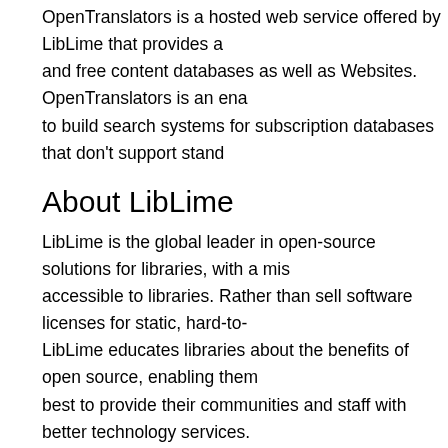OpenTranslators is a hosted web service offered by LibLime that provides a and free content databases as well as Websites. OpenTranslators is an ena to build search systems for subscription databases that don't support stand
About LibLime
LibLime is the global leader in open-source solutions for libraries, with a mis accessible to libraries. Rather than sell software licenses for static, hard-to- LibLime educates libraries about the benefits of open source, enabling them best to provide their communities and staff with better technology services. implementation of open-source in libraries by providing outstanding develop and training solutions--solutions tailored to each library's needs. For more i http://liblime.com.
Press Contact:
Tina Burger
Vice President, Marketing LibLime
(888)Koha ILS (564-2457)
tnb@liblime.com